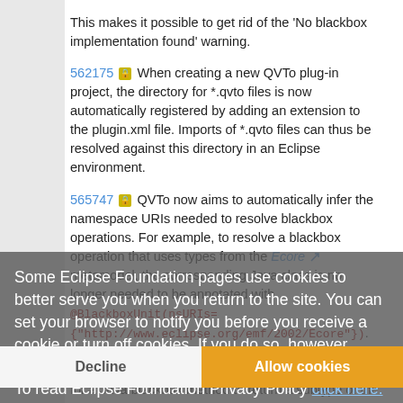This makes it possible to get rid of the 'No blackbox implementation found' warning.
562175 [lock] When creating a new QVTo plug-in project, the directory for *.qvto files is now automatically registered by adding an extension to the plugin.xml file. Imports of *.qvto files can thus be resolved against this directory in an Eclipse environment.
565747 [lock] QVTo now aims to automatically infer the namespace URIs needed to resolve blackbox operations. For example, to resolve a blackbox operation that uses types from the Ecore metamodel, the corresponding Java class is no longer needed to be annotated with @BlackboxUnit(nsURIs={"http://www.eclipse.org/emf/2002/Ecore"}). The Java blackbox resolution now conforms to the Liskov substitution principle. This makes it possible for a Java blackbox method to return a subtype of the QVTo return type or to accept supertypes of the QVTo parameter types.
566230 [lock] The Java blackbox resolution now takes
Some Eclipse Foundation pages use cookies to better serve you when you return to the site. You can set your browser to notify you before you receive a cookie or turn off cookies. If you do so, however, some areas of some sites may not function properly. To read Eclipse Foundation Privacy Policy click here.